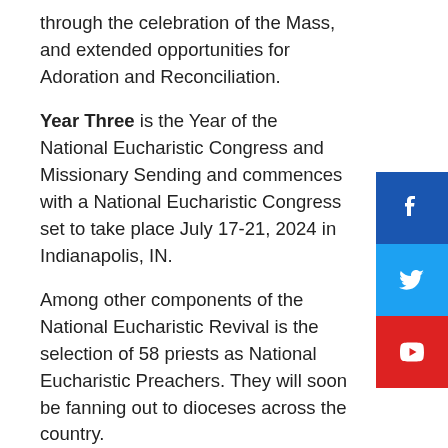through the celebration of the Mass, and extended opportunities for Adoration and Reconciliation.
Year Three is the Year of the National Eucharistic Congress and Missionary Sending and commences with a National Eucharistic Congress set to take place July 17-21, 2024 in Indianapolis, IN.
Among other components of the National Eucharistic Revival is the selection of 58 priests as National Eucharistic Preachers. They will soon be fanning out to dioceses across the country.